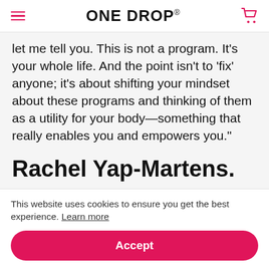ONE DROP
let me tell you. This is not a program. It’s your whole life. And the point isn’t to ‘fix’ anyone; it’s about shifting your mindset about these programs and thinking of them as a utility for your body—something that really enables you and empowers you.”
Rachel Yap-Martens.
This website uses cookies to ensure you get the best experience. Learn more
Accept